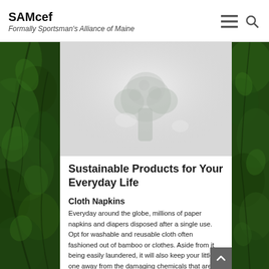SAMcef — Formally Sportsman's Alliance of Maine
[Figure (photo): Faded hero image showing a green plant or broccoli-like vegetable against a light grey/white background]
Sustainable Products for Your Everyday Life
Cloth Napkins
Everyday around the globe, millions of paper napkins and diapers disposed after a single use. Opt for washable and reusable cloth often fashioned out of bamboo or clothes. Aside from it being easily laundered, it will also keep your little one away from the damaging chemicals that are used to create classic diapers.